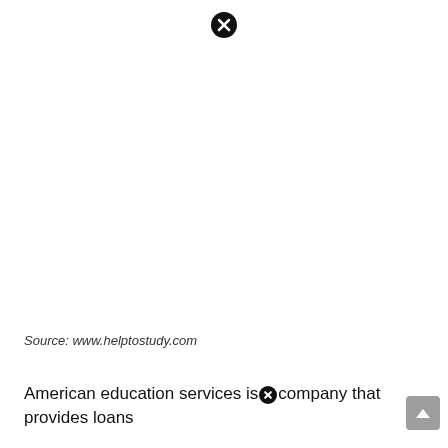[Figure (other): Close/dismiss icon (black circle with white X) at top center of page]
Source: www.helptostudy.com
American education services is company that provides loans